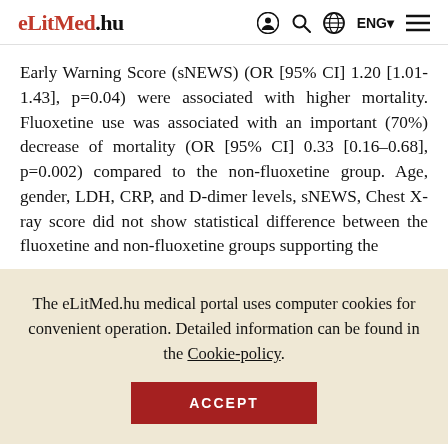eLitMed.hu | ENG | [icons]
Early Warning Score (sNEWS) (OR [95% CI] 1.20 [1.01-1.43], p=0.04) were associated with higher mortality. Fluoxetine use was associated with an important (70%) decrease of mortality (OR [95% CI] 0.33 [0.16–0.68], p=0.002) compared to the non-fluoxetine group. Age, gender, LDH, CRP, and D-dimer levels, sNEWS, Chest X-ray score did not show statistical difference between the fluoxetine and non-fluoxetine groups supporting the
The eLitMed.hu medical portal uses computer cookies for convenient operation. Detailed information can be found in the Cookie-policy.
ACCEPT